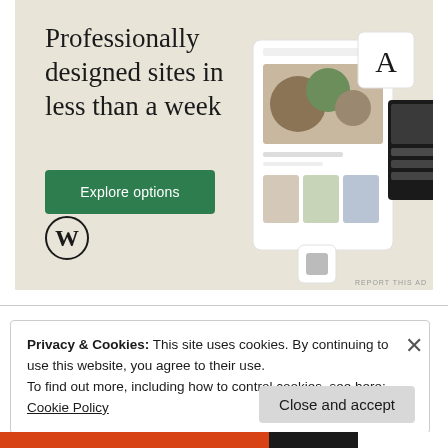[Figure (screenshot): WordPress advertisement banner with beige/cream background. Large serif text reads 'Professionally designed sites in less than a week'. Green button labeled 'Explore options'. WordPress W logo at bottom left. Mockup images of websites on right side.]
REPORT THIS AD
Privacy & Cookies: This site uses cookies. By continuing to use this website, you agree to their use.
To find out more, including how to control cookies, see here: Cookie Policy
Close and accept